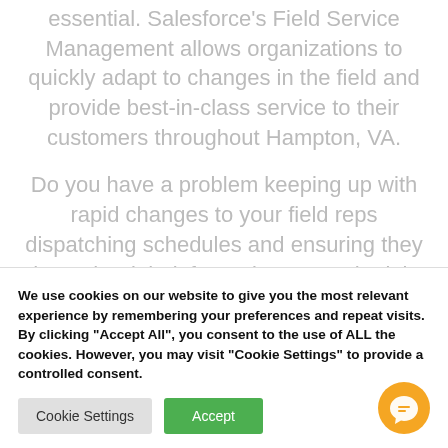essential. Salesforce's Field Service Management allows organizations to quickly adapt to changes in the field and provide best-in-class service to their customers throughout Hampton, VA.
Do you have a problem keeping up with rapid changes to your field reps dispatching schedules and ensuring they have the right information to get the job done? With Field Service Management service reps in the field
We use cookies on our website to give you the most relevant experience by remembering your preferences and repeat visits. By clicking "Accept All", you consent to the use of ALL the cookies. However, you may visit "Cookie Settings" to provide a controlled consent.
Cookie Settings
Accept